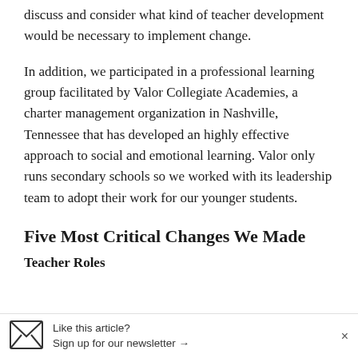discuss and consider what kind of teacher development would be necessary to implement change.
In addition, we participated in a professional learning group facilitated by Valor Collegiate Academies, a charter management organization in Nashville, Tennessee that has developed an highly effective approach to social and emotional learning. Valor only runs secondary schools so we worked with its leadership team to adopt their work for our younger students.
Five Most Critical Changes We Made
Teacher Roles
Like this article? Sign up for our newsletter →